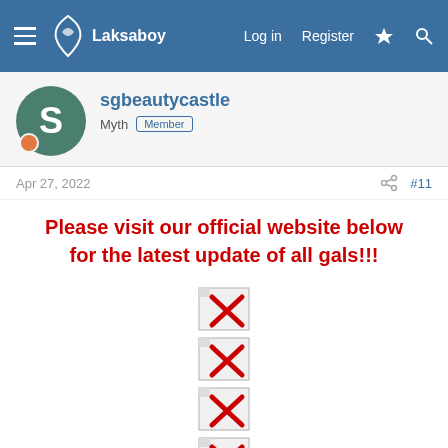Laksaboy | Log in | Register
sgbeautycastle
Myth Member
Apr 27, 2022   #11
Please visit our official website below for the latest update of all gals!!!
[Figure (other): Four broken image placeholders (red X icons) stacked vertically in the center of the post]